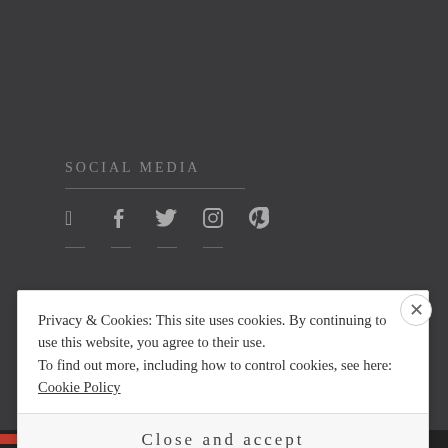SOCIAL MEDIA
[Figure (illustration): Social media icons: Facebook, Twitter, Instagram, Pinterest]
ARCHIVES
Privacy & Cookies: This site uses cookies. By continuing to use this website, you agree to their use.
To find out more, including how to control cookies, see here: Cookie Policy
Close and accept